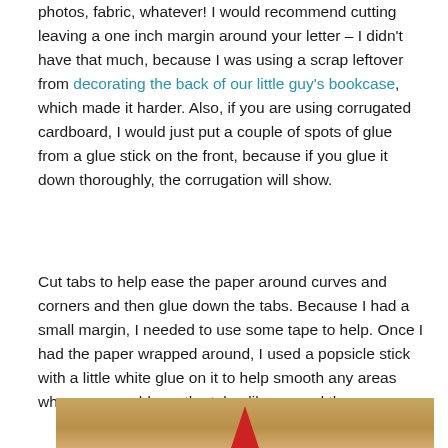photos, fabric, whatever! I would recommend cutting leaving a one inch margin around your letter – I didn't have that much, because I was using a scrap leftover from decorating the back of our little guy's bookcase, which made it harder. Also, if you are using corrugated cardboard, I would just put a couple of spots of glue from a glue stick on the front, because if you glue it down thoroughly, the corrugation will show.
Cut tabs to help ease the paper around curves and corners and then glue down the tabs. Because I had a small margin, I needed to use some tape to help. Once I had the paper wrapped around, I used a popsicle stick with a little white glue on it to help smooth any areas where you could see the tabs, like around the curves.
[Figure (photo): Partial photo showing a wooden surface with a red pencil or similar object pointing upward from the bottom]